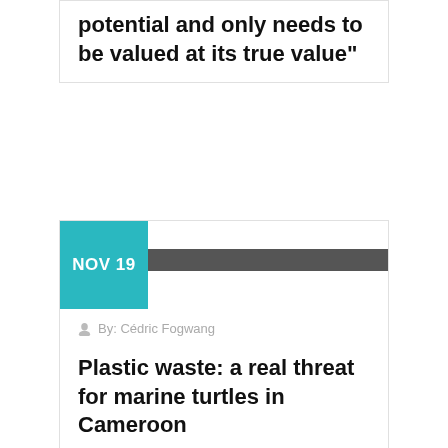potential and only needs to be valued at its true value"
[Figure (photo): Partial image visible in the card header area, appears to be a nature/ocean photo, mostly obscured]
NOV 19
By: Cédric Fogwang
Plastic waste: a real threat for marine turtles in Cameroon